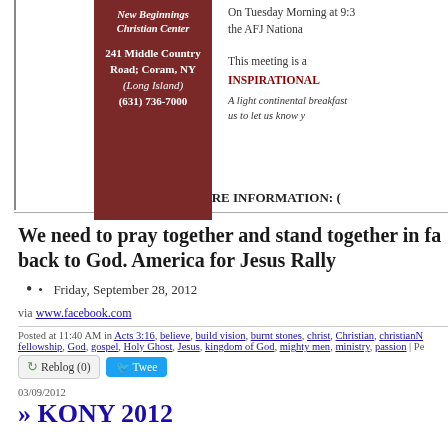[Figure (infographic): Church advertisement box with dark red background showing 'New Beginnings Christian Center' name in italic bold white text, address '241 Middle Country Road; Coram, NY (Long Island) (631) 736-7000']
On Tuesday Morning at 9:3 the AFJ Nationa
This meeting is a
INSPIRATIONAL
A light continental breakfast us to let us know y
CALL FOR MORE INFORMATION: (
We need to pray together and stand together in fa back to God. America for Jesus Rally
Friday, September 28, 2012
via www.facebook.com
Posted at 11:40 AM in Acts 3:16, believe, build vision, burnt stones, christ, Christian, christianN fellowship, God, gospel, Holy Ghost, Jesus, kingdom of God, mighty men, ministry, passion | Pe
Reblog (0)  Tweet
03/09/2012
» KONY 2012